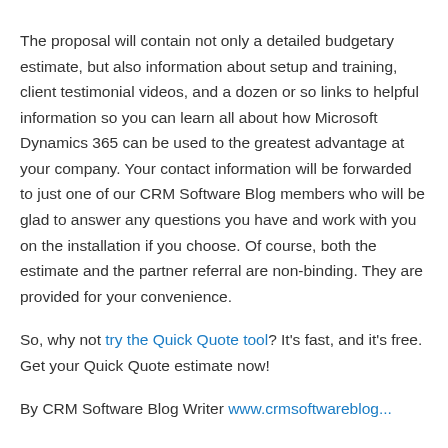The proposal will contain not only a detailed budgetary estimate, but also information about setup and training, client testimonial videos, and a dozen or so links to helpful information so you can learn all about how Microsoft Dynamics 365 can be used to the greatest advantage at your company. Your contact information will be forwarded to just one of our CRM Software Blog members who will be glad to answer any questions you have and work with you on the installation if you choose. Of course, both the estimate and the partner referral are non-binding. They are provided for your convenience.
So, why not try the Quick Quote tool? It's fast, and it's free. Get your Quick Quote estimate now!
By CRM Software Blog Writer www.crmsoftwareblog...